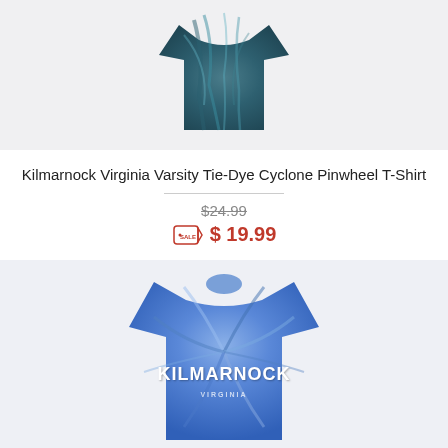[Figure (photo): Teal tie-dye t-shirt product photo on light gray background, top portion visible]
Kilmarnock Virginia Varsity Tie-Dye Cyclone Pinwheel T-Shirt
$24.99 (strikethrough original price)
SALE tag icon $ 19.99
[Figure (photo): Blue tie-dye t-shirt with KILMARNOCK text in white varsity font, product photo on light gray background]